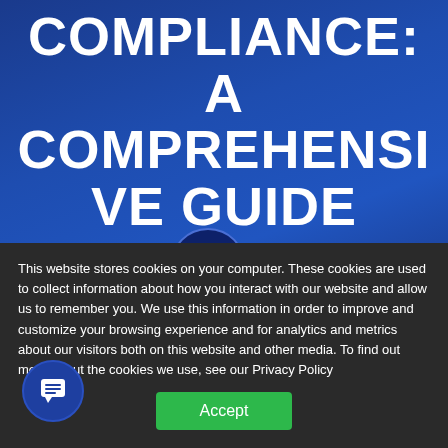COMPLIANCE: A COMPREHENSIVE GUIDE
[Figure (other): Navigation menu button (hamburger icon circle) with CHAPTERS label overlay on blue background]
This website stores cookies on your computer. These cookies are used to collect information about how you interact with our website and allow us to remember you. We use this information in order to improve and customize your browsing experience and for analytics and metrics about our visitors both on this website and other media. To find out more about the cookies we use, see our Privacy Policy
[Figure (other): Green Accept button for cookie consent]
[Figure (other): Blue chat/support bubble icon in lower left corner]